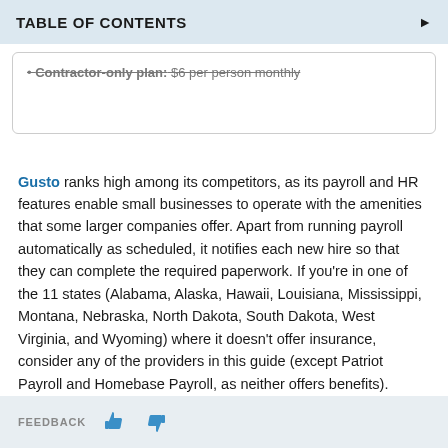TABLE OF CONTENTS
Contractor-only plan: $6 per person monthly
Gusto ranks high among its competitors, as its payroll and HR features enable small businesses to operate with the amenities that some larger companies offer. Apart from running payroll automatically as scheduled, it notifies each new hire so that they can complete the required paperwork. If you're in one of the 11 states (Alabama, Alaska, Hawaii, Louisiana, Mississippi, Montana, Nebraska, North Dakota, South Dakota, West Virginia, and Wyoming) where it doesn't offer insurance, consider any of the providers in this guide (except Patriot Payroll and Homebase Payroll, as neither offers benefits).
FEEDBACK